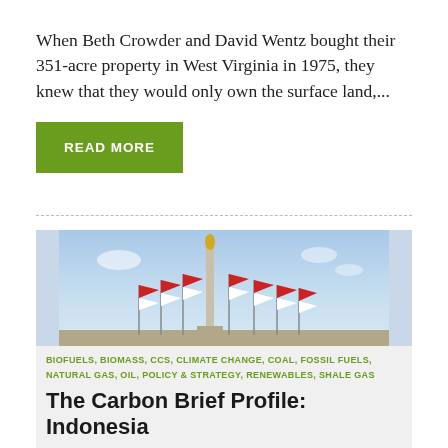When Beth Crowder and David Wentz bought their 351-acre property in West Virginia in 1975, they knew that they would only own the surface land,...
READ MORE
[Figure (photo): Photo of a tall monument/column with multiple red and white Indonesian flags on flagpoles in the foreground against a blue sky background]
BIOFUELS, BIOMASS, CCS, CLIMATE CHANGE, COAL, FOSSIL FUELS, NATURAL GAS, OIL, POLICY & STRATEGY, RENEWABLES, SHALE GAS
The Carbon Brief Profile: Indonesia